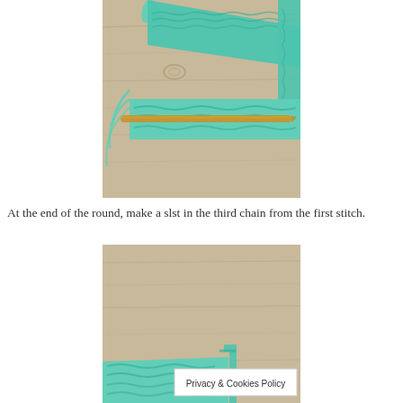[Figure (photo): A teal/mint colored crochet piece laid flat on a wooden surface, with a bamboo knitting needle inserted through the stitches horizontally. Yarn tails visible on the left side.]
At the end of the round, make a slst in the third chain from the first stitch.
[Figure (photo): A teal/mint colored crochet piece showing a corner/edge detail laid on a wooden surface. A 'Privacy & Cookies Policy' overlay banner is visible in the lower right of the image.]